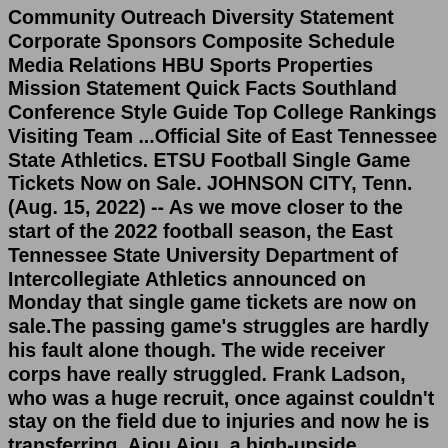Community Outreach Diversity Statement Corporate Sponsors Composite Schedule Media Relations HBU Sports Properties Mission Statement Quick Facts Southland Conference Style Guide Top College Rankings Visiting Team ...Official Site of East Tennessee State Athletics. ETSU Football Single Game Tickets Now on Sale. JOHNSON CITY, Tenn. (Aug. 15, 2022) -- As we move closer to the start of the 2022 football season, the East Tennessee State University Department of Intercollegiate Athletics announced on Monday that single game tickets are now on sale.The passing game's struggles are hardly his fault alone though. The wide receiver corps have really struggled. Frank Ladson, who was a huge recruit, once against couldn't stay on the field due to injuries and now he is transferring. Ajou Ajou, a high-upside Canadian player that was hyped by coaches in Fall Camp, looked lost and is now ...The definitive source for all Ohio State news.plus size winifred sanderson costume. air fryer drew barrymore. smoke city vapes promo code outside tal